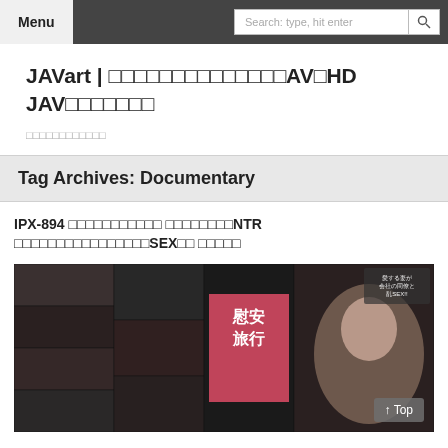Menu | Search: type, hit enter
JAVart | □□□□□□□□□□□□□□AV□HD JAV□□□□□□□
□□□□□□□□□□□□
Tag Archives: Documentary
IPX-894 □□□□□□□□□□□ □□□□□□□□NTR □□□□□□□□□□□□□□□□SEX□□ □□□□□
[Figure (photo): Movie cover collage thumbnail for IPX-894 showing multiple scenes and a main actress portrait]